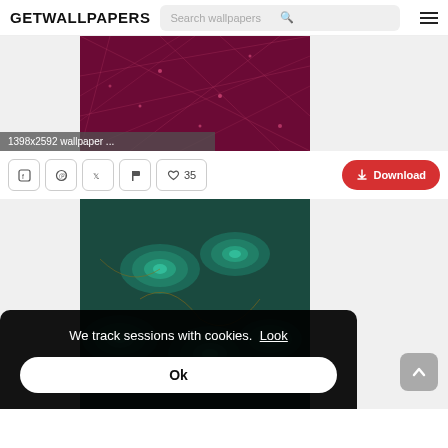GETWALLPAPERS — Search wallpapers
[Figure (screenshot): Dark magenta/crimson wallpaper thumbnail with geometric network line pattern, labeled '1398x2592 wallpaper ...']
1398x2592 wallpaper ...
Facebook | Pinterest | Twitter | Flag | ♥ 35 | ↓ Download
[Figure (photo): Dark teal succulent plants wallpaper thumbnail]
We track sessions with cookies. Look
Ok